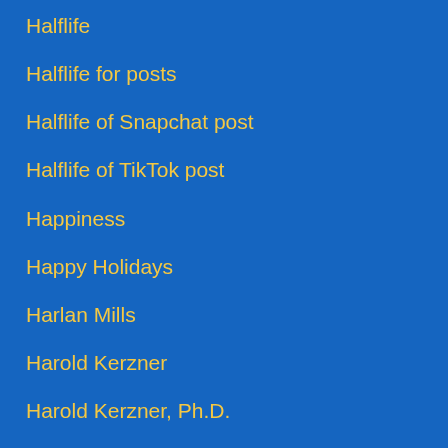Halflife
Halflife for posts
Halflife of Snapchat post
Halflife of TikTok post
Happiness
Happy Holidays
Harlan Mills
Harold Kerzner
Harold Kerzner, Ph.D.
Harness